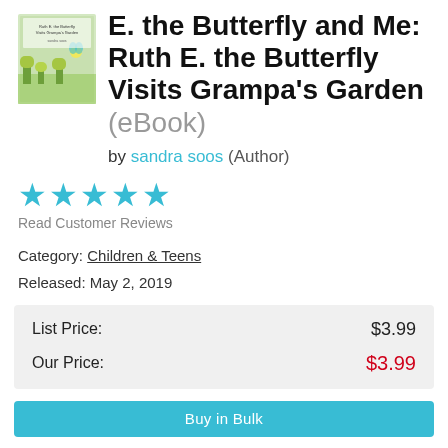[Figure (illustration): Book cover thumbnail for Ruth E. the Butterfly Visits Grampa's Garden]
E. the Butterfly and Me: Ruth E. the Butterfly Visits Grampa's Garden (eBook)
by sandra soos (Author)
[Figure (other): 5 filled cyan/blue star rating icons]
Read Customer Reviews
Category: Children & Teens
Released: May 2, 2019
| List Price: | $3.99 |
| Our Price: | $3.99 |
Buy in Bulk